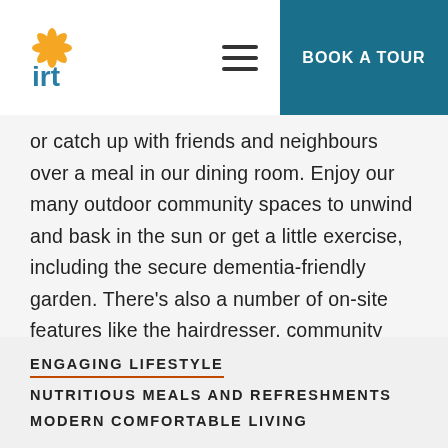IRT logo | hamburger menu | BOOK A TOUR
or catch up with friends and neighbours over a meal in our dining room. Enjoy our many outdoor community spaces to unwind and bask in the sun or get a little exercise, including the secure dementia-friendly garden. There's also a number of on-site features like the hairdresser, community room and library for you to take advantage of.
ENGAGING LIFESTYLE
NUTRITIOUS MEALS AND REFRESHMENTS
MODERN COMFORTABLE LIVING